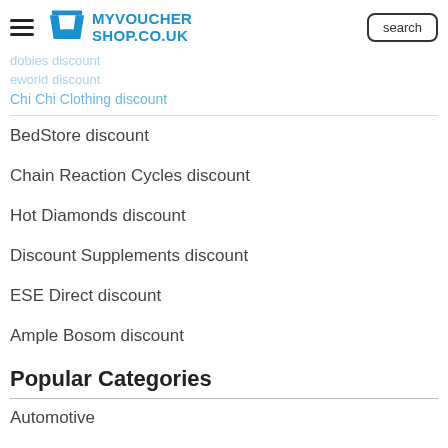MYVOUCHERSHOP.CO.UK
dobies discount
eworld discount
Chi Chi Clothing discount
BedStore discount
Chain Reaction Cycles discount
Hot Diamonds discount
Discount Supplements discount
ESE Direct discount
Ample Bosom discount
Popular Categories
Automotive
Technology & Electronics
Clothing & Accessories
Mobile, TV & Broadband
Travel